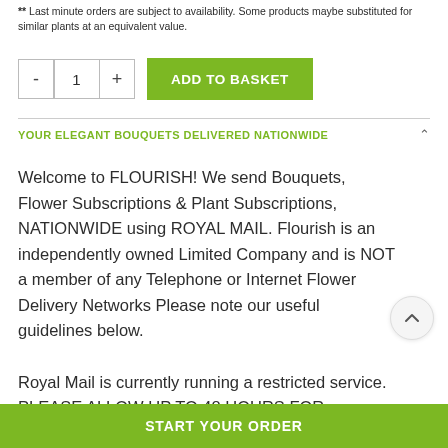** Last minute orders are subject to availability.  Some products maybe substituted for similar plants at an equivalent value.
- 1 + ADD TO BASKET
YOUR ELEGANT BOUQUETS DELIVERED NATIONWIDE
Welcome to FLOURISH! We send Bouquets, Flower Subscriptions & Plant Subscriptions, NATIONWIDE using ROYAL MAIL. Flourish is an independently owned Limited Company and is NOT a member of any Telephone or Internet Flower Delivery Networks Please note our useful guidelines below.
Royal Mail is currently running a restricted service.
PLEASE ALLOW UP TO 48 HOURS FOR DELIVERY
START YOUR ORDER